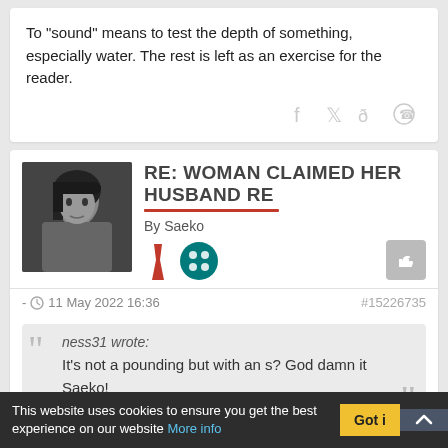To "sound" means to test the depth of something, especially water. The rest is left as an exercise for the reader.
[Figure (infographic): Social share icons: Facebook, Twitter, Reddit, WhatsApp]
RE: WOMAN CLAIMED HER HUSBAND RE
By Saeko
[Figure (illustration): User badges: red tie icon and teal dots circle badge]
[Figure (photo): Black and white avatar photo of a person with dark hair]
- 11 May 2022 16:36   #15226735
ness31 wrote:
It's not a pounding but with an s? God damn it Saeko!
[Figure (illustration): Laughing emoji face]
This website uses cookies to ensure you get the best experience on our website More info